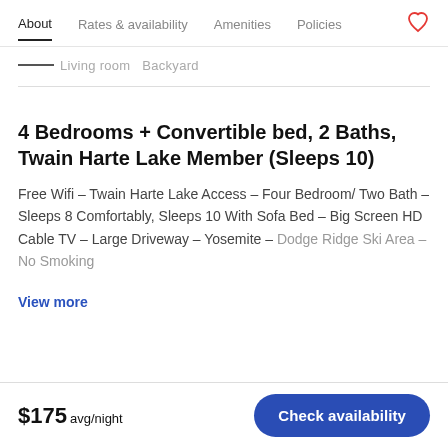About   Rates & availability   Amenities   Policies
Living room   Backyard
4 Bedrooms + Convertible bed, 2 Baths, Twain Harte Lake Member (Sleeps 10)
Free Wifi – Twain Harte Lake Access – Four Bedroom/ Two Bath – Sleeps 8 Comfortably, Sleeps 10 With Sofa Bed – Big Screen HD Cable TV – Large Driveway – Yosemite – Dodge Ridge Ski Area – No Smoking
View more
$175 avg/night
Check availability